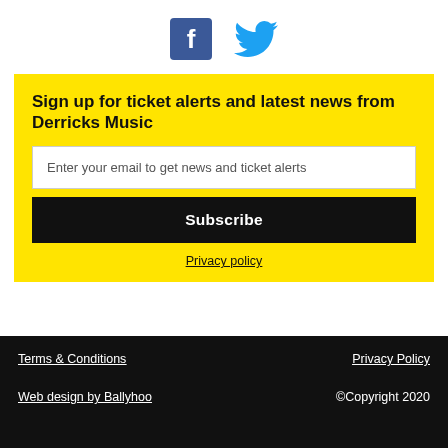[Figure (illustration): Facebook and Twitter social media icons]
Sign up for ticket alerts and latest news from Derricks Music
Enter your email to get news and ticket alerts
Subscribe
Privacy policy
Terms & Conditions    Privacy Policy    Web design by Ballyhoo    ©Copyright 2020